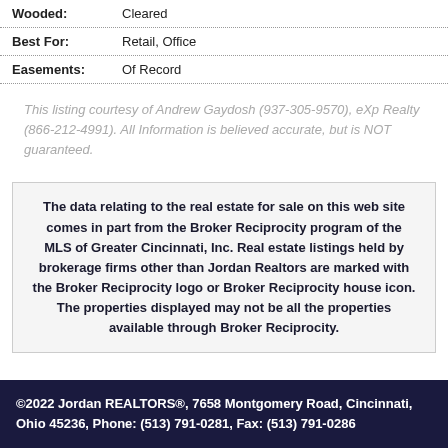| Wooded: | Cleared |
| Best For: | Retail, Office |
| Easements: | Of Record |
This listing courtesy of Andrew Gaydosh (937-305-9570), eXp Realty (866-212-4991). All Information is believed accurate, but is NOT guaranteed.
The data relating to the real estate for sale on this web site comes in part from the Broker Reciprocity program of the MLS of Greater Cincinnati, Inc. Real estate listings held by brokerage firms other than Jordan Realtors are marked with the Broker Reciprocity logo or Broker Reciprocity house icon. The properties displayed may not be all the properties available through Broker Reciprocity.
©2022 Jordan REALTORS®, 7658 Montgomery Road, Cincinnati, Ohio 45236, Phone: (513) 791-0281, Fax: (513) 791-0286